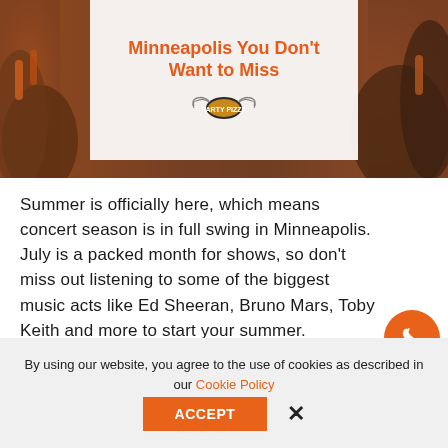[Figure (illustration): Hero image showing a concert crowd with orange tones. A white box overlay contains orange bold text reading 'Minneapolis You Don't Want to Miss' with a logo below it.]
Summer is officially here, which means concert season is in full swing in Minneapolis. July is a packed month for shows, so don't miss out listening to some of the biggest music acts like Ed Sheeran, Bruno Mars, Toby Keith and more to start your summer.
By using our website, you agree to the use of cookies as described in our Cookie Policy